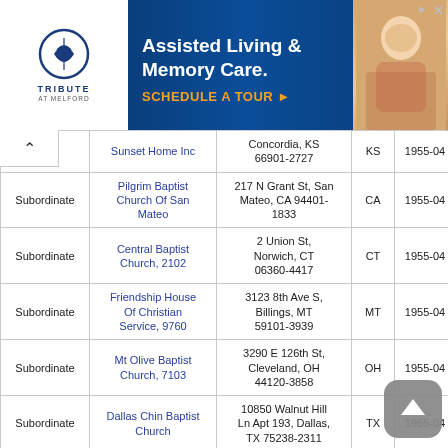[Figure (other): Advertisement banner for Tribute at Melford Assisted Living & Memory Care with a Schedule a Tour call-to-action]
| Type | Name | Address | State | Year | Amount |
| --- | --- | --- | --- | --- | --- |
| Subordinate | Sunset Home Inc | Concordia, KS 66901-2727 | KS | 1955-04 | $3,121,604 |
| Subordinate | Pilgrim Baptist Church Of San Mateo | 217 N Grant St, San Mateo, CA 94401-1833 | CA | 1955-04 | $1,519,892 |
| Subordinate | Central Baptist Church, 2102 | 2 Union St, Norwich, CT 06360-4417 | CT | 1955-04 | $1,025,469 |
| Subordinate | Friendship House Of Christian Service, 9760 | 3123 8th Ave S, Billings, MT 59101-3939 | MT | 1955-04 | $822,256 |
| Subordinate | Mt Olive Baptist Church, 7103 | 3290 E 126th St, Cleveland, OH 44120-3858 | OH | 1955-04 | $799,351 |
| Subordinate | Dallas Chin Baptist Church | 10850 Walnut Hill Ln Apt 193, Dallas, TX 75238-2311 | TX | 1955-04 | $[obscured] |
| Subordinate | Bronx Christian Fellowship, 8172 | 1015 E Gun Hill Rd, Bronx, NY | NY | 1955-04 | $399,875 |